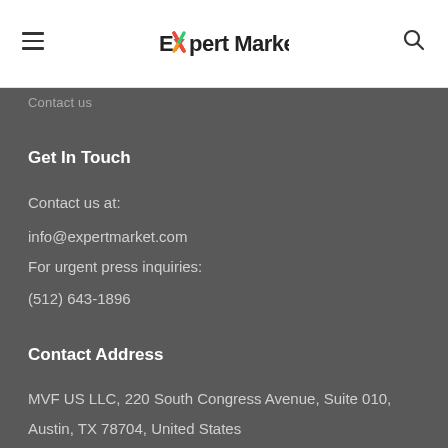Expert Market
Contact us
Get In Touch
Contact us at:
info@expertmarket.com
For urgent press inquiries:
(512) 643-1896
Contact Address
MVF US LLC, 220 South Congress Avenue, Suite 010, Austin, TX 78704, United States